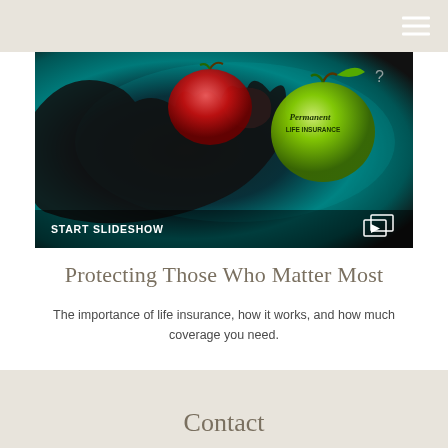[Figure (screenshot): A tablet screen showing a hand touching a red apple and a green apple with 'Permanent Life Insurance' text overlay. A 'START SLIDESHOW' button with slideshow icon appears at the bottom.]
Protecting Those Who Matter Most
The importance of life insurance, how it works, and how much coverage you need.
Contact